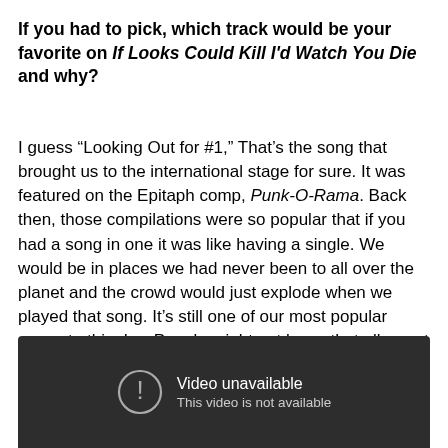If you had to pick, which track would be your favorite on If Looks Could Kill I'd Watch You Die and why?
I guess “Looking Out for #1,” That’s the song that brought us to the international stage for sure. It was featured on the Epitaph comp, Punk-O-Rama. Back then, those compilations were so popular that if you had a song in one it was like having a single. We would be in places we had never been to all over the planet and the crowd would just explode when we played that song. It’s still one of our most popular songs to this day. People might not know that album at all but they know that song.
[Figure (screenshot): Embedded video player showing 'Video unavailable - This video is not available' message on a dark background]